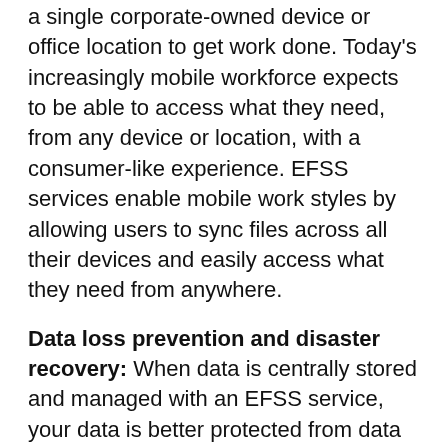a single corporate-owned device or office location to get work done. Today's increasingly mobile workforce expects to be able to access what they need, from any device or location, with a consumer-like experience. EFSS services enable mobile work styles by allowing users to sync files across all their devices and easily access what they need from anywhere.
Data loss prevention and disaster recovery: When data is centrally stored and managed with an EFSS service, your data is better protected from data leakage, whether from a cybersecurity attack, a lost or stolen device, or employee error. EFSS services make it easy to keep data backed up and secure, and to plan for disaster recovery.
Document workflows and collaboration: More EFSS services are evolving to include workflow and productivity collaboration capabilities and...